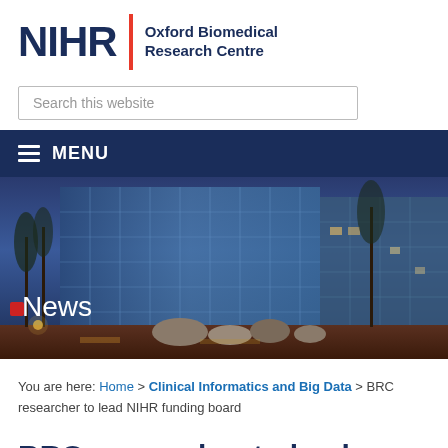[Figure (logo): NIHR Oxford Biomedical Research Centre logo with red vertical divider bar]
Search this website
MENU
[Figure (photo): Exterior photo of a modern glass building at dusk/twilight with trees and rocks in foreground, with 'News' text overlay]
You are here: Home > Clinical Informatics and Big Data > BRC researcher to lead NIHR funding board
BRC researcher to lead